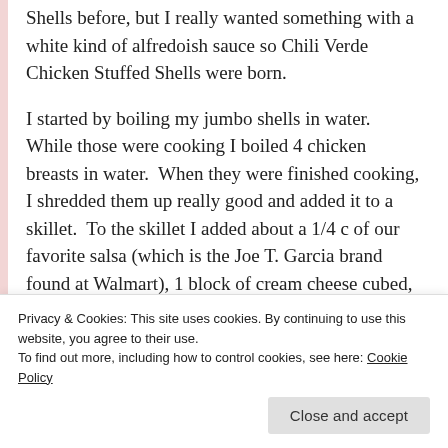Shells before, but I really wanted something with a white kind of alfredoish sauce so Chili Verde Chicken Stuffed Shells were born.
I started by boiling my jumbo shells in water.  While those were cooking I boiled 4 chicken breasts in water.  When they were finished cooking, I shredded them up really good and added it to a skillet.  To the skillet I added about a 1/4 c of our favorite salsa (which is the Joe T. Garcia brand found at Walmart), 1 block of cream cheese cubed, and 1 can of green chilies.  It is very hearty and the green chilies add such a great flavor.  Once the shells were cooked, I strained them and sprayed them with cold water to cool off.  To a 13X9
Privacy & Cookies: This site uses cookies. By continuing to use this website, you agree to their use.
To find out more, including how to control cookies, see here: Cookie Policy